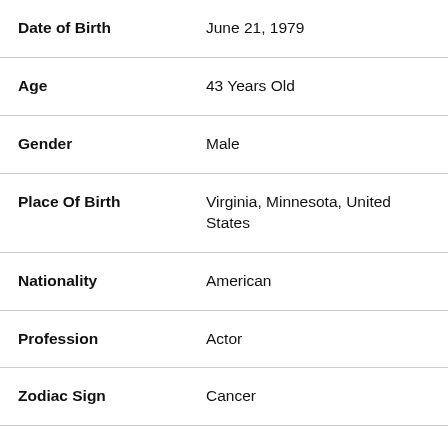| Field | Value |
| --- | --- |
| Date of Birth | June 21, 1979 |
| Age | 43 Years Old |
| Gender | Male |
| Place Of Birth | Virginia, Minnesota, United States |
| Nationality | American |
| Profession | Actor |
| Zodiac Sign | Cancer |
| Religion | Christian |